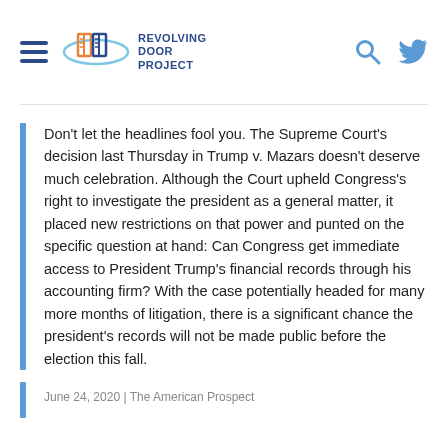[Figure (logo): Revolving Door Project logo with hamburger menu icon, open-book/door graphic in orange and blue, and text 'REVOLVING DOOR PROJECT' in dark blue. Right side has search and Twitter icons in light blue.]
Don't let the headlines fool you. The Supreme Court's decision last Thursday in Trump v. Mazars doesn't deserve much celebration. Although the Court upheld Congress's right to investigate the president as a general matter, it placed new restrictions on that power and punted on the specific question at hand: Can Congress get immediate access to President Trump's financial records through his accounting firm? With the case potentially headed for many more months of litigation, there is a significant chance the president's records will not be made public before the election this fall.
June 24, 2020 | The American Prospect